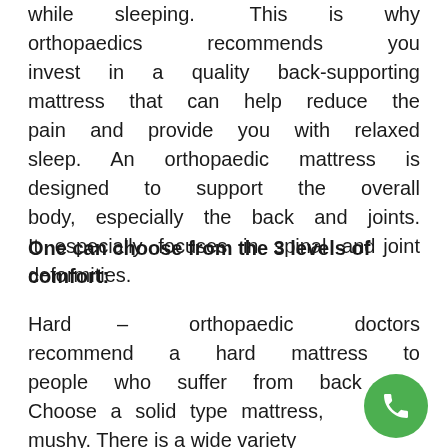while sleeping. This is why orthopaedics recommends you invest in a quality back-supporting mattress that can help reduce the pain and provide you with relaxed sleep. An orthopaedic mattress is designed to support the overall body, especially the back and joints. It especially focuses in spinal and joint deformities.
One can choose from the 3 levels of comfort:
Hard – orthopaedic doctors recommend a hard mattress to people who suffer from back. Choose a solid type mattress, is not mushy. There is a wide variety